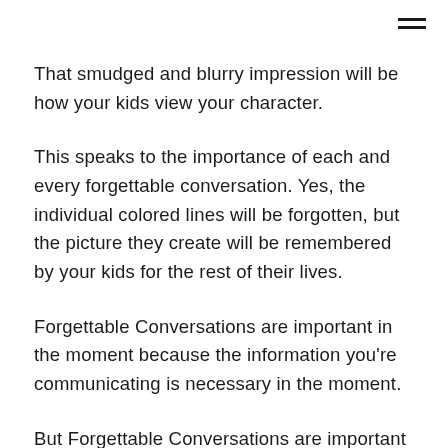≡
That smudged and blurry impression will be how your kids view your character.
This speaks to the importance of each and every forgettable conversation. Yes, the individual colored lines will be forgotten, but the picture they create will be remembered by your kids for the rest of their lives.
Forgettable Conversations are important in the moment because the information you're communicating is necessary in the moment.
But Forgettable Conversations are important in the long run because they corporately add to the general